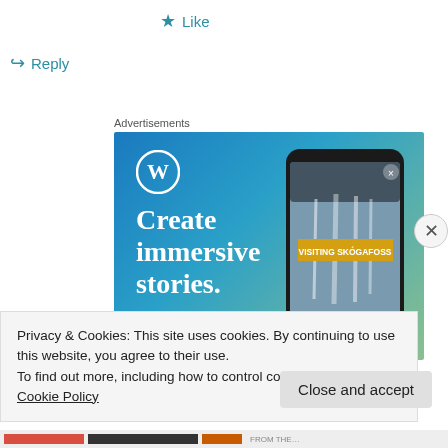★ Like
↪ Reply
Advertisements
[Figure (illustration): WordPress advertisement banner showing WordPress logo, text 'Create immersive stories.' and a phone mockup displaying 'VISITING SKÓGAFOSS' waterfall image]
Privacy & Cookies: This site uses cookies. By continuing to use this website, you agree to their use.
To find out more, including how to control cookies, see here: Cookie Policy
Close and accept